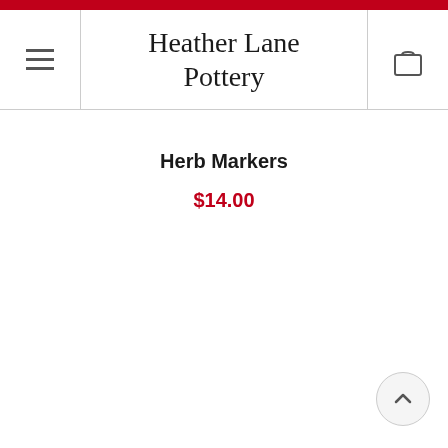Heather Lane Pottery
Herb Markers
$14.00